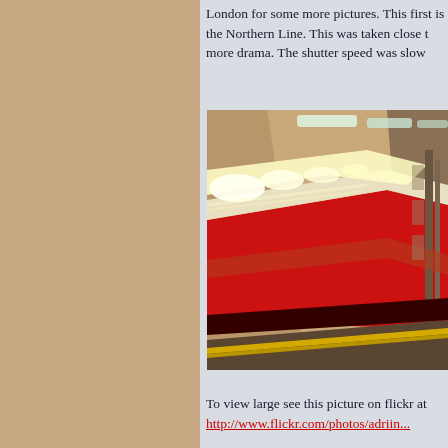London for some more pictures. This first is the Northern Line. This was taken close to more drama. The shutter speed was slow
[Figure (photo): Motion-blur photograph of a London Underground train (Northern Line) passing through a station tunnel. The train is red with bright white lights blurred into streaks. The tunnel ceiling is warm tan/beige, with fluorescent tube lights visible. The platform edge with yellow safety line is visible at the bottom right. Strong perspective lines converge toward the background giving a dramatic vanishing-point effect.]
To view large see this picture on flickr at http://www.flickr.com/photos/adriin...